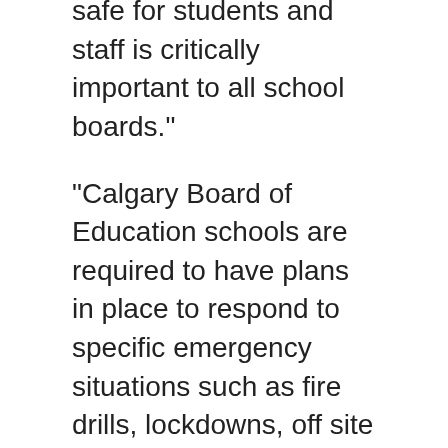safe for students and staff is critically important to all school boards."
"Calgary Board of Education schools are required to have plans in place to respond to specific emergency situations such as fire drills, lockdowns, off site evacuations and external threats," it read.
"CBE and other school boards worked with the Calgary Police Service to develop our lockdown protocols and ensure they are consistent across the city."
The Calgary Catholic School District also utilized active shooter drills and student resource officers to minimize anxiety for responses to threats.